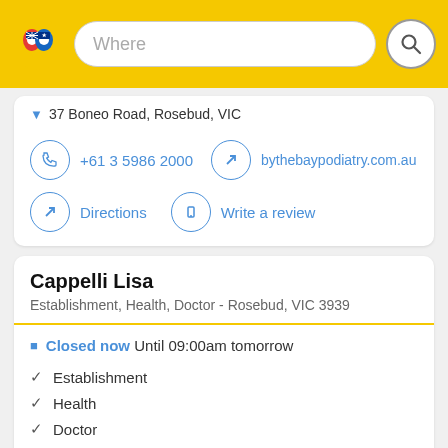Where [search bar with logo]
▼ 37 Boneo Road, Rosebud, VIC
+61 3 5986 2000
bythebaypodiatry.com.au
Directions
Write a review
Cappelli Lisa
Establishment, Health, Doctor - Rosebud, VIC 3939
Closed now Until 09:00am tomorrow
✓ Establishment
✓ Health
✓ Doctor
▼ 40 Boneo Road, Rosebud, VIC